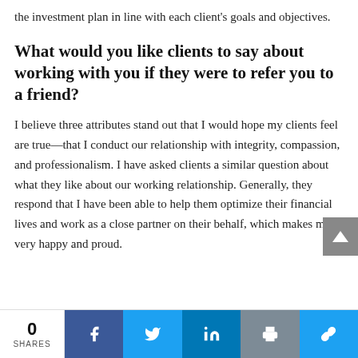the investment plan in line with each client's goals and objectives.
What would you like clients to say about working with you if they were to refer you to a friend?
I believe three attributes stand out that I would hope my clients feel are true—that I conduct our relationship with integrity, compassion, and professionalism. I have asked clients a similar question about what they like about our working relationship. Generally, they respond that I have been able to help them optimize their financial lives and work as a close partner on their behalf, which makes me very happy and proud.
0 SHARES | Facebook | Twitter | LinkedIn | Print | Link